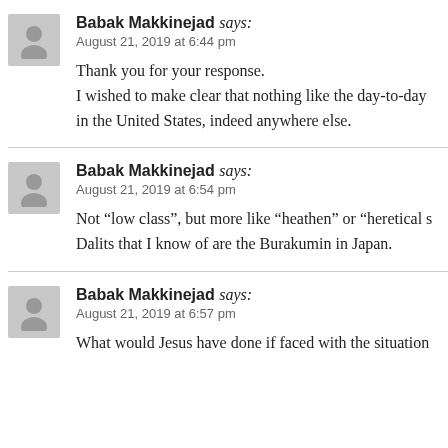Babak Makkinejad says:
August 21, 2019 at 6:44 pm

Thank you for your response.
I wished to make clear that nothing like the day-to-day in the United States, indeed anywhere else.
Babak Makkinejad says:
August 21, 2019 at 6:54 pm

Not “low class”, but more like “heathen” or “heretical s Dalits that I know of are the Burakumin in Japan.
Babak Makkinejad says:
August 21, 2019 at 6:57 pm

What would Jesus have done if faced with the situation